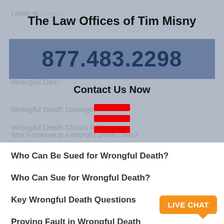The Law Offices of Tim Misny
877.483.2298
Contact Us Now
Limits d...
Wrongful Death Damages
Wrongful Death Claims FAQ
Who is Immune to a Wrongful Death Claim?
Who Can Be Sued for Wrongful Death?
Who Can Sue for Wrongful Death?
Key Wrongful Death Questions
Proving Fault in Wrongful Death
Wrongful Death Overview